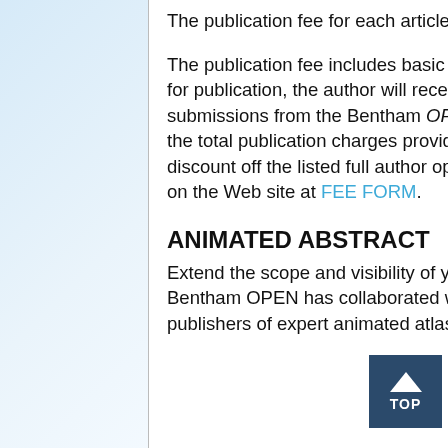The publication fee for each article published in this journal is US $950.
The publication fee includes basic copy editing services. Once the paper is accepted for publication, the author will receive an electronic invoice via email. Subsequent submissions from the Bentham OPEN Authors will receive a discount of US$ 100 on the total publication charges provided their previous submission did not avail any discount off the listed full author open access fee rate. The fee form is also available on the Web site at FEE FORM.
ANIMATED ABSTRACT
Extend the scope and visibility of your research by creating an animated abstract. Bentham OPEN has collaborated with Focus Medica, one of the world's largest publishers of expert animated atlases and videos in medicine and science.